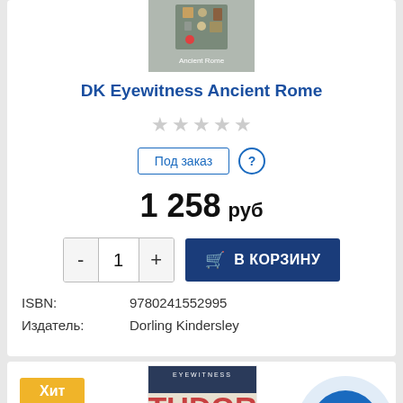[Figure (photo): Top portion of a book cover for DK Eyewitness Ancient Rome, showing various Roman artifacts]
DK Eyewitness Ancient Rome
[Figure (other): Five empty star rating icons]
Под заказ  ?
1 258 руб
- 1 +  В КОРЗИНУ
ISBN:   9780241552995
Издатель:   Dorling Kindersley
[Figure (photo): Book cover for DK Eyewitness Tudor]
Хит